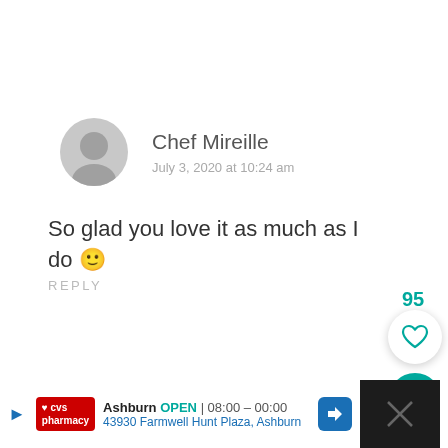[Figure (illustration): Gray circular avatar placeholder with silhouette icon for Chef Mireille]
Chef Mireille
July 3, 2020 at 10:24 am
So glad you love it as much as I do 🙂
REPLY
95
[Figure (illustration): White heart icon in circular white button with shadow (like button)]
[Figure (illustration): Teal circle with white search/magnify icon]
[Figure (illustration): White circle with teal heart outline icon]
[Figure (illustration): Salmon/coral circle with white share icon]
[Figure (photo): Small circular avatar photo of Pam Greer with teal/green hair]
Pam Greer
July 3, 2020 at 10:58 am
[Figure (screenshot): Ad bar at bottom: CVS Pharmacy - Ashburn OPEN 08:00-00:00, 43930 Farmwell Hunt Plaza, Ashburn]